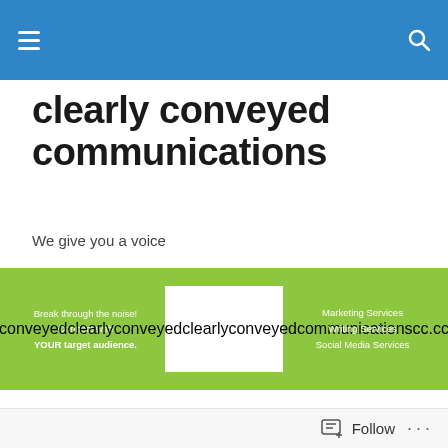Navigation bar with hamburger menu and search icon
clearly conveyed communications
We give you a voice
[Figure (infographic): Green banner with left text 'Break through the noise! Connect with YOUR target audience.', center logo for clearly conveyed communications, and right text listing Marketing Services, Writing Services, Social Media Services]
6 Things All Businesses Should Do Over Christmas
Follow ...